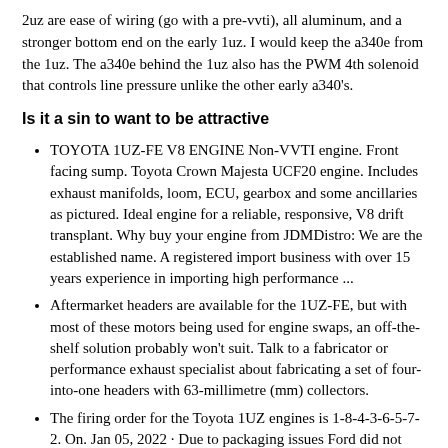2uz are ease of wiring (go with a pre-vvti), all aluminum, and a stronger bottom end on the early 1uz. I would keep the a340e from the 1uz. The a340e behind the 1uz also has the PWM 4th solenoid that controls line pressure unlike the other early a340's.
Is it a sin to want to be attractive
TOYOTA 1UZ-FE V8 ENGINE Non-VVTI engine. Front facing sump. Toyota Crown Majesta UCF20 engine. Includes exhaust manifolds, loom, ECU, gearbox and some ancillaries as pictured. Ideal engine for a reliable, responsive, V8 drift transplant. Why buy your engine from JDMDistro: We are the established name. A registered import business with over 15 years experience in importing high performance ...
Aftermarket headers are available for the 1UZ-FE, but with most of these motors being used for engine swaps, an off-the-shelf solution probably won't suit. Talk to a fabricator or performance exhaust specialist about fabricating a set of four-into-one headers with 63-millimetre (mm) collectors.
The firing order for the Toyota 1UZ engines is 1-8-4-3-6-5-7-2. On. Jan 05, 2022 · Due to packaging issues Ford did not add equal length headers for this reason, and also did not add